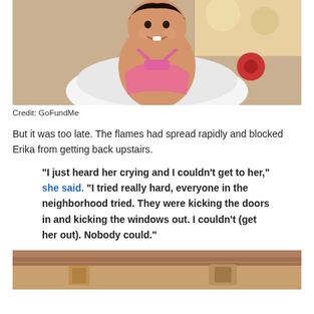[Figure (photo): Photo of a smiling baby girl wearing a pink sparkly top, sitting in what appears to be a white inflatable ring or seat, with colorful toys visible in the background.]
Credit: GoFundMe
But it was too late. The flames had spread rapidly and blocked Erika from getting back upstairs.
"I just heard her crying and I couldn't get to her," she said. "I tried really hard, everyone in the neighborhood tried. They were kicking the doors in and kicking the windows out. I couldn't (get her out). Nobody could."
[Figure (photo): Partial photo visible at the bottom of the page showing what appears to be a surface with some objects.]